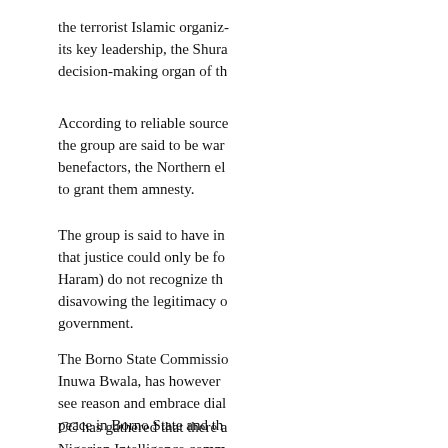the terrorist Islamic organization and its key leadership, the Shura, the decision-making organ of the
According to reliable sources within the group are said to be wary of its benefactors, the Northern elite, trying to grant them amnesty.
The group is said to have insisted that justice could only be found if they (Boko Haram) do not recognize the state, disavowing the legitimacy of the government.
The Borno State Commissioner, Inuwa Bwala, has however urged them to see reason and embrace dialogue to restore peace in Borno State and the
CC has gathered that there are Nigerian Intelligence community views of government as to the just